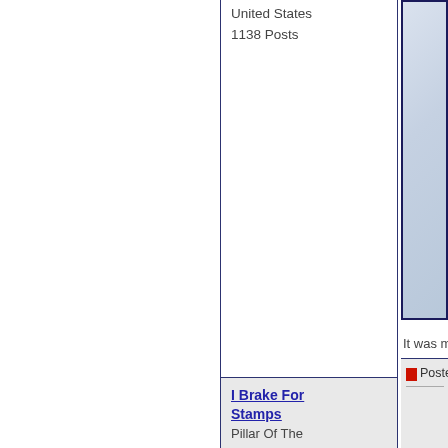United States
1138 Posts
[Figure (photo): A light blue/grey envelope or card photograph, partially visible on the right side of the page]
It was mailed f
I Brake For Stamps
Pillar Of The
Posted 06/09